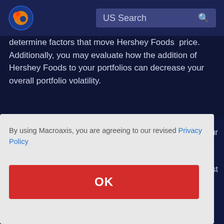US Search
determine factors that move Hershey Foods  price. Additionally, you may evaluate how the addition of Hershey Foods to your portfolios can decrease your overall portfolio volatility.
By using Macroaxis, you are agreeing to our revised Privacy Policy
OK
Portfolio Rebalancing